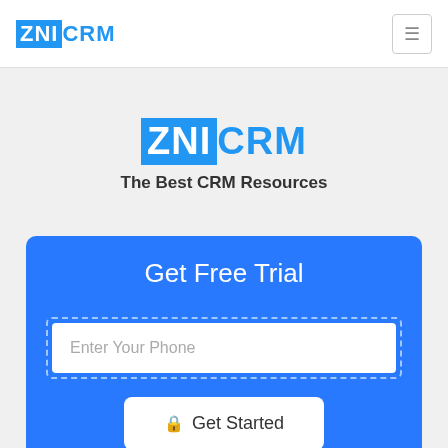[Figure (logo): ZNICRM logo in top navigation bar, ZNI in white on blue background, CRM in blue]
[Figure (logo): ZNICRM large center logo, ZNI in white on blue background, CRM in blue]
The Best CRM Resources
Get Free Trial
Enter Your Phone
🔒 Get Started